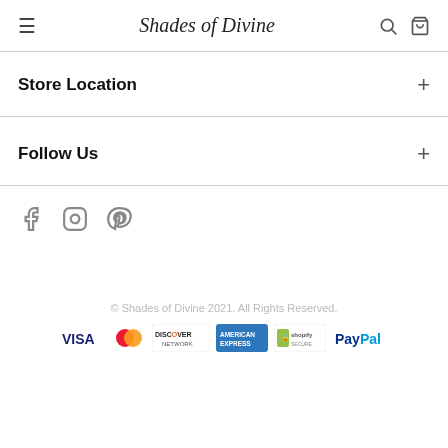Shades of Divine
Store Location
Follow Us
[Figure (illustration): Social media icons: Facebook, Instagram, Pinterest]
© Shades of Divine 2021. All Rights Reserved.
[Figure (illustration): Payment method logos: VISA, MasterCard, Discover Network, American Express, Shopify Secure, PayPal]